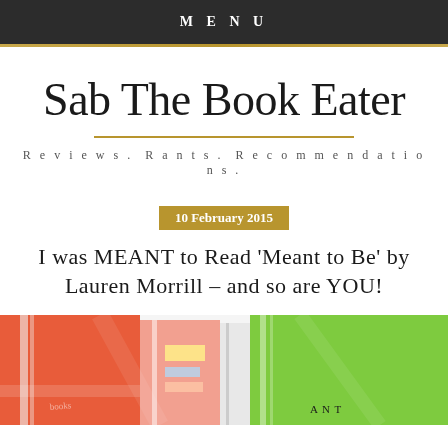MENU
Sab The Book Eater
Reviews. Rants. Recommendations.
10 February 2015
I was MEANT to Read 'Meant to Be' by Lauren Morrill – and so are YOU!
[Figure (photo): Colorful books stacked together – red, pink, and green book covers visible]